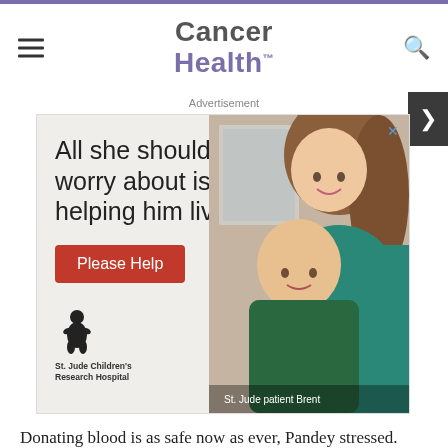Cancer Health
[Figure (illustration): St. Jude Children's Research Hospital advertisement showing a bald child cancer patient and a smiling woman (caregiver/mother). Text reads: 'All she should worry about is helping him live. Please Help.' St. Jude patient Brent is identified in caption.]
Donating blood is as safe now as ever, Pandey stressed. Since early February, on the advice of the federal Food and Drug Administration, blood centers have deferred people considered at risk for COVID-19 infections. People should